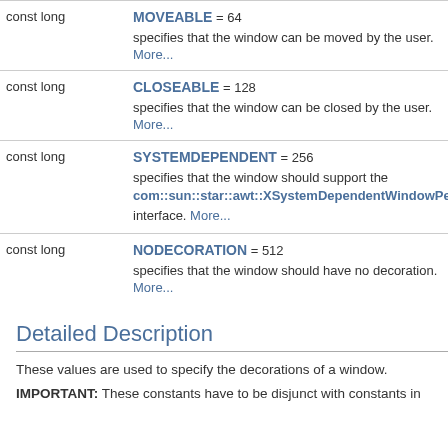| Type | Name/Description |
| --- | --- |
| const long | MOVEABLE = 64
specifies that the window can be moved by the user.
More… |
| const long | CLOSEABLE = 128
specifies that the window can be closed by the user.
More… |
| const long | SYSTEMDEPENDENT = 256
specifies that the window should support the com::sun::star::awt::XSystemDependentWindowPeer interface. More… |
| const long | NODECORATION = 512
specifies that the window should have no decoration.
More… |
Detailed Description
These values are used to specify the decorations of a window.
IMPORTANT: These constants have to be disjunct with constants in